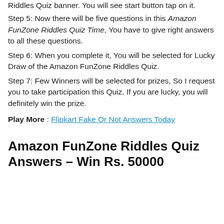Riddles Quiz banner. You will see start button tap on it.
Step 5: Now there will be five questions in this Amazon FunZone Riddles Quiz Time, You have to give right answers to all these questions.
Step 6: When you complete it, You will be selected for Lucky Draw of the Amazon FunZone Riddles Quiz.
Step 7: Few Winners will be selected for prizes, So I request you to take participation this Quiz. If you are lucky, you will definitely win the prize.
Play More : Flipkart Fake Or Not Answers Today
Amazon FunZone Riddles Quiz Answers – Win Rs. 50000